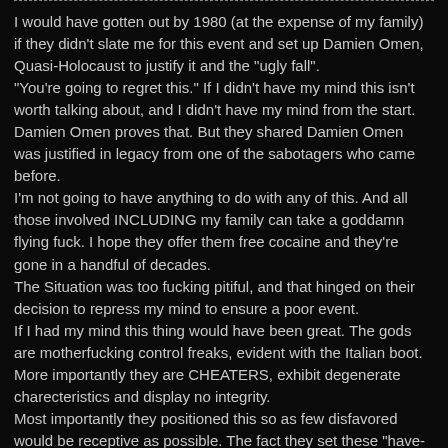I would have gotten out by 1980 (at the expense of my family) if they didn't slate me for this event and set up Damien Omen, Quasi-Holocaust to justify it and the "ugly fall".
"You're going to regret this." If I didn't have my mind this isn't worth talking about, and I didn't have my mind from the start.
Damien Omen proves that. But they shared Damien Omen was justified in legacy from one of the sabotagers who came before.
I'm not going to have anything to do with any of this. And all those involved INCLUDING my family can take a goddamn flying fuck. I hope they offer them free cocaine and they're gone in a handful of decades.
The Situation was too fucking pitiful, and that hinged on their decision to repress my mind to ensure a poor event.
If I had my mind this thing would have been great. The gods are motherfucking control freaks, evident with the Italian boot.
More importantly they are CHEATERS, exhibit degenerate charecteristics and display no integrity.
Most importantly they positioned this so as few disfavored would be receptive as possible. The fact they set these "have-not" families up for their fall supports it.
Because of the weight, because of the height, because of Damien